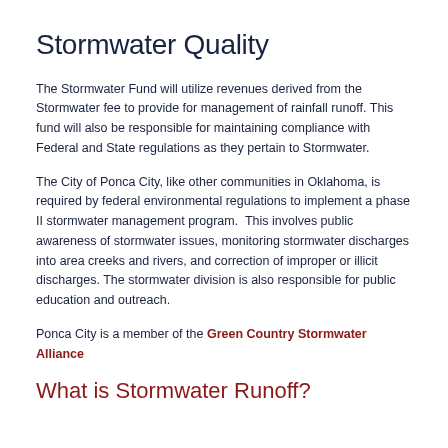Stormwater Quality
The Stormwater Fund will utilize revenues derived from the Stormwater fee to provide for management of rainfall runoff. This fund will also be responsible for maintaining compliance with Federal and State regulations as they pertain to Stormwater.
The City of Ponca City, like other communities in Oklahoma, is required by federal environmental regulations to implement a phase II stormwater management program.  This involves public awareness of stormwater issues, monitoring stormwater discharges into area creeks and rivers, and correction of improper or illicit discharges. The stormwater division is also responsible for public education and outreach.
Ponca City is a member of the Green Country Stormwater Alliance
What is Stormwater Runoff?